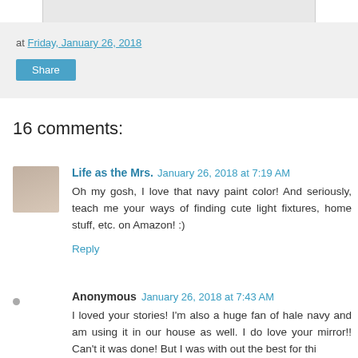[Figure (photo): Partial image visible at top of page, cropped — appears to be a product or home decor item on a light background]
at Friday, January 26, 2018
Share
16 comments:
Life as the Mrs.  January 26, 2018 at 7:19 AM
Oh my gosh, I love that navy paint color! And seriously, teach me your ways of finding cute light fixtures, home stuff, etc. on Amazon! :)
Reply
Anonymous  January 26, 2018 at 7:43 AM
I loved your stories! I'm also a huge fan of hale navy and am using it in our house as well. I do love your mirror!! Can't it was done! But I was with out the best for this